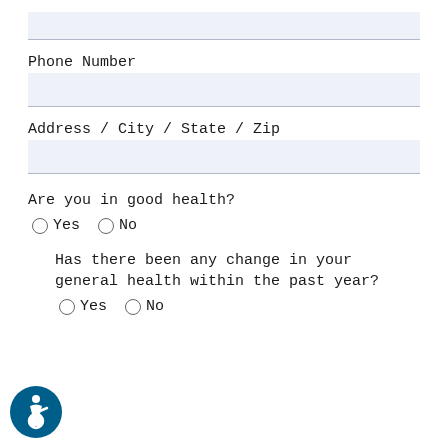Phone Number
Address / City / State / Zip
Are you in good health?
Yes   No
Has there been any change in your general health within the past year?
Yes   No